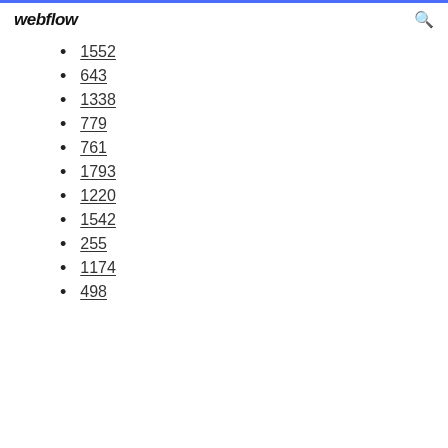webflow
1552
643
1338
779
761
1793
1220
1542
255
1174
498